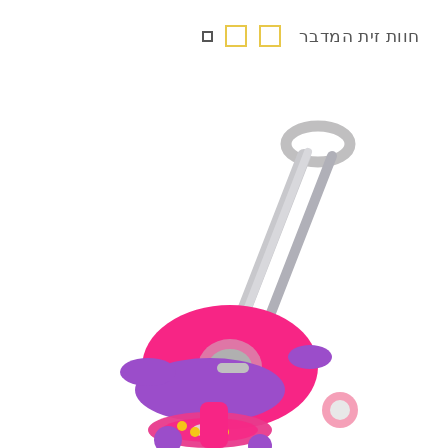חוות זית המדבר
[Figure (photo): Pink and purple children's push ride-on toy / scooter with a long gray push handle, a seat with harness, and a steering wheel, photographed on a white background. The toy is partially cropped, showing primarily the upper body and handle.]